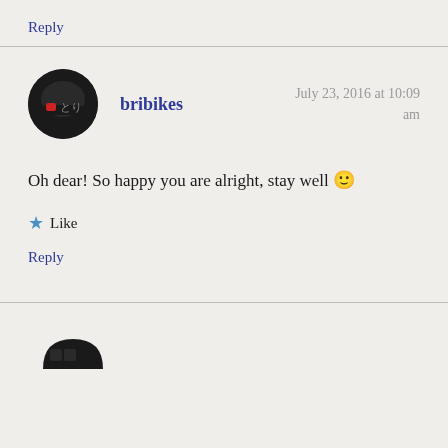Reply
bribikes
July 23, 2016 at 10:09 am
Oh dear! So happy you are alright, stay well 🙂
Like
Reply